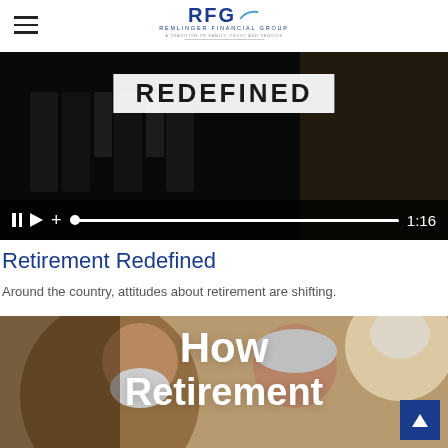RFG — Remlinger Financial Group. A tradition of Family, Trust and Service
[Figure (screenshot): Video player showing 'REDEFINED' text overlay on piano background, with playback controls and time 1:16]
Retirement Redefined
Around the country, attitudes about retirement are shifting.
[Figure (photo): Older couple looking at something together, with 'How Retirement' text overlay in large white bold font]